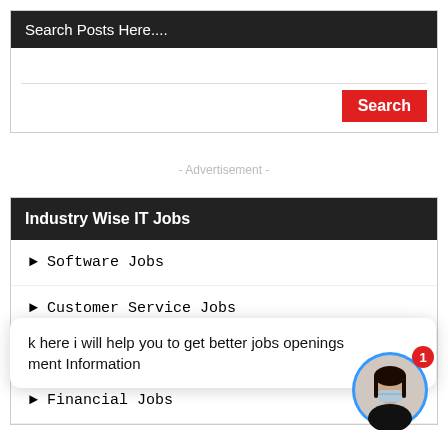Search Posts Here....
- Advertisement -
Industry Wise IT Jobs
► Software Jobs
► Customer Service Jobs
k here i will help you to get better jobs openings
ment Information
► Hardware Jobs
► Financial Jobs
[Figure (photo): Woman wearing a face mask, avatar in a blue circle with notification badge showing 1]